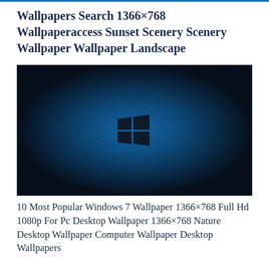Wallpapers Search 1366×768 Wallpaperaccess Sunset Scenery Scenery Wallpaper Wallpaper Landscape
[Figure (photo): Dark blue textured background with Windows logo in the center, displayed as a wallpaper thumbnail]
10 Most Popular Windows 7 Wallpaper 1366×768 Full Hd 1080p For Pc Desktop Wallpaper 1366×768 Nature Desktop Wallpaper Computer Wallpaper Desktop Wallpapers